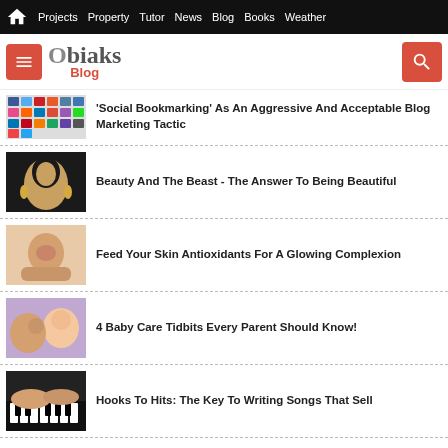Projects  Property  Tutor  News  Blog  Books  Weather
[Figure (logo): Obiaks Blog logo with menu and search buttons]
'Social Bookmarking' As An Aggressive And Acceptable Blog Marketing Tactic
Beauty And The Beast - The Answer To Being Beautiful
Feed Your Skin Antioxidants For A Glowing Complexion
4 Baby Care Tidbits Every Parent Should Know!
Hooks To Hits: The Key To Writing Songs That Sell